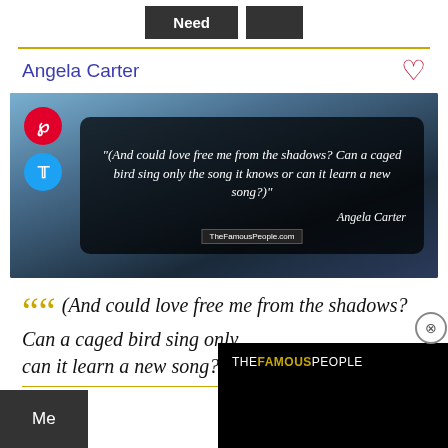Need | [button]
Angela Carter
[Figure (illustration): Quote image card with mountain lake background. Shows quote: '(And could love free me from the shadows? Can a caged bird sing only the song it knows or can it learn a new song?)' attributed to Angela Carter, with Pinterest and Twitter social share buttons, and TheFamousPeople.com watermark.]
(And could love free me from the shadows? Can a caged bird sing only the song it knows or can it learn a new song?)
THEFAMOUSPEOPLE
Me